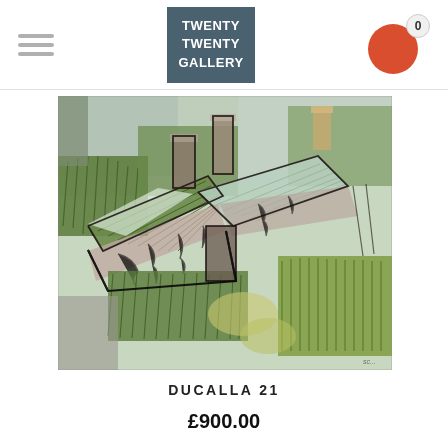TWENTY TWENTY GALLERY
[Figure (illustration): Painting of ruined or weathered stone cottages viewed from above, with green brushstroke vegetation, corrugated roofs, chimneys, rendered in mixed media with black ink lines and muted colours.]
DUCALLA 21
£900.00